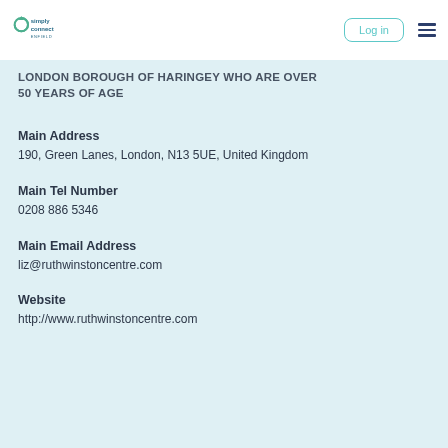Simply Connect Enfield – Log in
LONDON BOROUGH OF HARINGEY WHO ARE OVER 50 YEARS OF AGE
Main Address
190, Green Lanes, London, N13 5UE, United Kingdom
Main Tel Number
0208 886 5346
Main Email Address
liz@ruthwinstoncentre.com
Website
http://www.ruthwinstoncentre.com